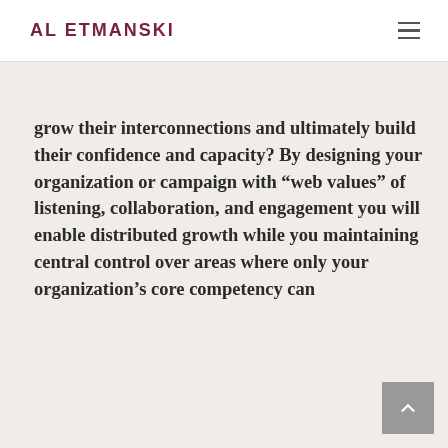AL ETMANSKI
grow their interconnections and ultimately build their confidence and capacity? By designing your organization or campaign with “web values” of listening, collaboration, and engagement you will enable distributed growth while you maintaining central control over areas where only your organization’s core competency can